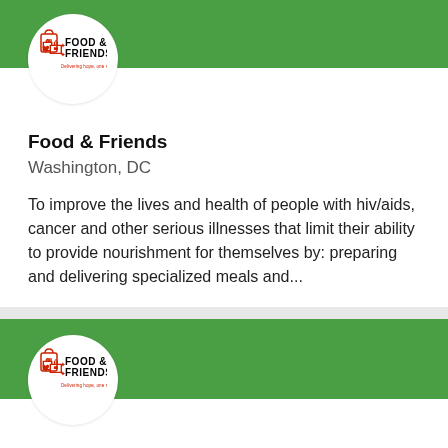[Figure (logo): Food & Friends logo with shopping bag icon, bold text 'FOOD & FRIENDS', tagline 'Delivering hope, one meal at a time']
Food & Friends
Washington, DC
To improve the lives and health of people with hiv/aids, cancer and other serious illnesses that limit their ability to provide nourishment for themselves by: preparing and delivering specialized meals and...
[Figure (logo): Food & Friends logo with shopping bag icon, bold text 'FOOD & FRIENDS', tagline 'Delivering hope, one meal at a time']
Food & Friends